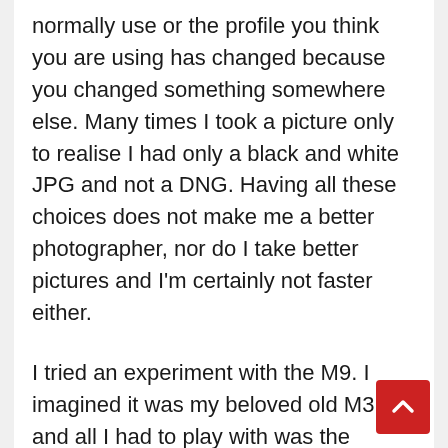normally use or the profile you think you are using has changed because you changed something somewhere else. Many times I took a picture only to realise I had only a black and white JPG and not a DNG. Having all these choices does not make me a better photographer, nor do I take better pictures and I'm certainly not faster either.
I tried an experiment with the M9. I imagined it was my beloved old M3 and all I had to play with was the shutter speed, lens aperture and composition. It was a revelation. I found that I didn't even need the light meter after a while, the human eye being surprisingly good with practice. My pictures suddenly looked better to me. It might only have been because they were